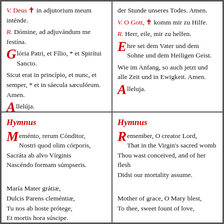V. Deus ✠ in adjutorium meum inténde.
R. Dómine, ad adjuvándum me festína.
Glória Patri, et Fílio, * et Spirítui Sancto.
Sicut erat in princípio, et nunc, et semper, * et in sáecula sæculórum. Amen.
Allelúja.
der Stunde unseres Todes. Amen.
V. O Gott, ✠ komm mir zu Hilfe.
R. Herr, eile, mir zu helfen.
Ehre sei dem Vater und dem Sohne und dem Heiligen Geist.
Wie im Anfang, so auch jetzt und alle Zeit und in Ewigkeit. Amen.
Alleluja.
Hymnus
Meménto, rerum Cónditor,
Nostri quod olim córporis,
Sacráta ab alvo Vírginis
Nascéndo formam súmpseris.

María Mater grátiæ,
Dulcis Parens cleméntiæ,
Tu nos ab hoste prótege,
Et mortis hora súscipe.
Hymnus
Remember, O creator Lord,
That in the Virgin's sacred womb
Thou wast conceived, and of her flesh
Didst our mortality assume.

Mother of grace, O Mary blest,
To thee, sweet fount of love,